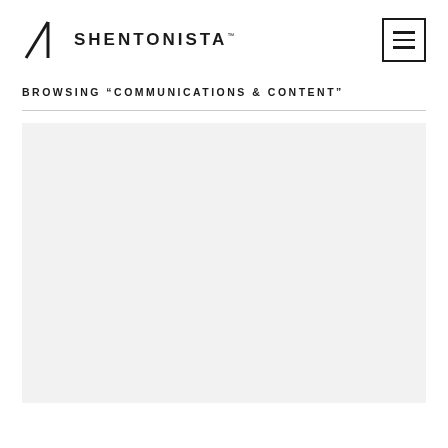SHENTONISTA™
BROWSING “COMMUNICATIONS & CONTENT”
[Figure (other): Large light gray rectangular content placeholder area below the browsing title and divider line]